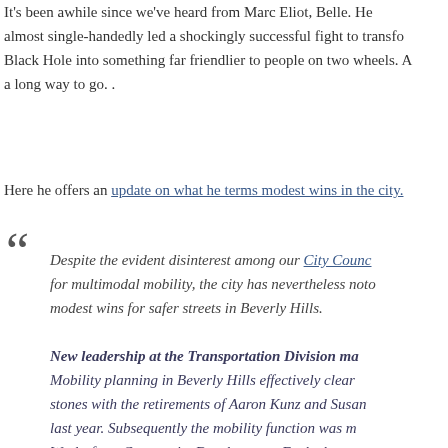It's been awhile since we've heard from Marc Eliot, Belle. He almost single-handedly led a shockingly successful fight to transform Black Hole into something far friendlier to people on two wheels. A long way to go. .
Here he offers an update on what he terms modest wins in the city.
"Despite the evident disinterest among our City Council for multimodal mobility, the city has nevertheless noted modest wins for safer streets in Beverly Hills.

New leadership at the Transportation Division ma... Mobility planning in Beverly Hills effectively clear... stones with the retirements of Aaron Kunz and Susan... last year. Subsequently the mobility function was m... Works from Community Development. Each chan... a big step forward. Daren Grilley and Jessie Hol... charge of the transportation division and each u... importance of safe streets. They walk the walk too... as they both ride.

New commissioners have revitalized the Tra...